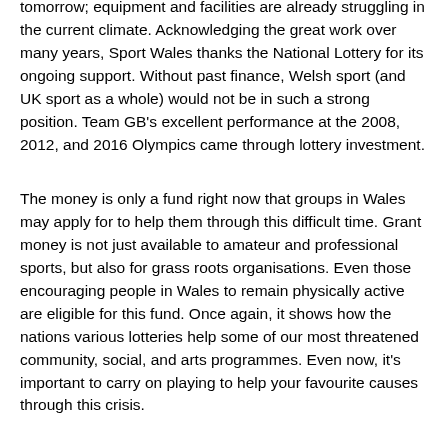tomorrow; equipment and facilities are already struggling in the current climate. Acknowledging the great work over many years, Sport Wales thanks the National Lottery for its ongoing support. Without past finance, Welsh sport (and UK sport as a whole) would not be in such a strong position. Team GB's excellent performance at the 2008, 2012, and 2016 Olympics came through lottery investment.
The money is only a fund right now that groups in Wales may apply for to help them through this difficult time. Grant money is not just available to amateur and professional sports, but also for grass roots organisations. Even those encouraging people in Wales to remain physically active are eligible for this fund. Once again, it shows how the nations various lotteries help some of our most threatened community, social, and arts programmes. Even now, it's important to carry on playing to help your favourite causes through this crisis.